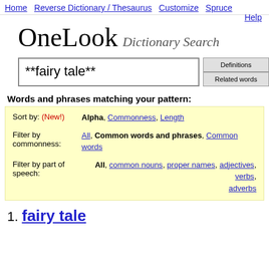Home   Reverse Dictionary / Thesaurus   Customize   Spruce
Help
OneLook Dictionary Search
**fairy tale**
Words and phrases matching your pattern:
Sort by: (New!) Alpha, Commonness, Length
Filter by commonness: All, Common words and phrases, Common words
Filter by part of speech: All, common nouns, proper names, adjectives, verbs, adverbs
1. fairy tale